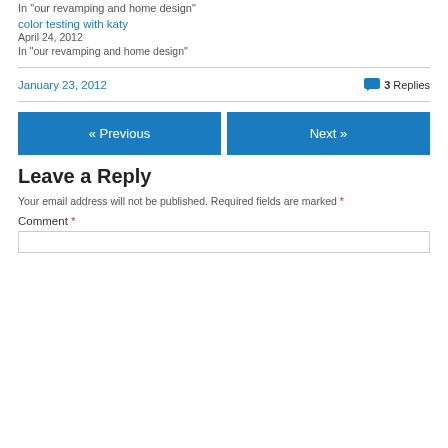In "our revamping and home design"
color testing with katy
April 24, 2012
In "our revamping and home design"
January 23, 2012   3 Replies
« Previous
Next »
Leave a Reply
Your email address will not be published. Required fields are marked *
Comment *